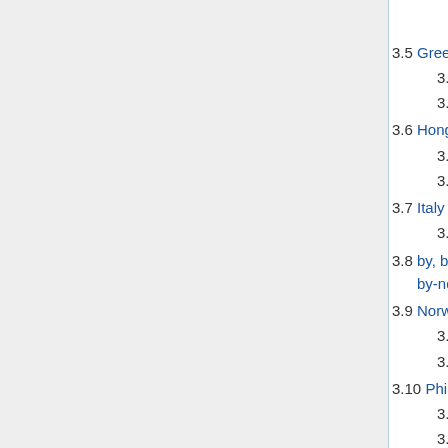3.4.1  by, by-nc, by-nc-nd, by-nd, by-sa 2.0 fr
3.5  Greece
3.5.1  BY SA
3.5.2  BY NC SA
3.6  Hong Kong
3.6.1  BY SA
3.6.2  BY NC SA
3.7  Italy
3.7.1  by-sa 2.0 it
3.8  by, by-nc, by-nc-nd, by-nc-sa, by-nd, by-sa 3.0 nl
3.9  Norway
3.9.1  BY SA
3.9.2  BY NC SA
3.10  Philippines
3.10.1  BY SA
3.10.2  BY NC SA
3.11  Romania
3.11.1  BY SA